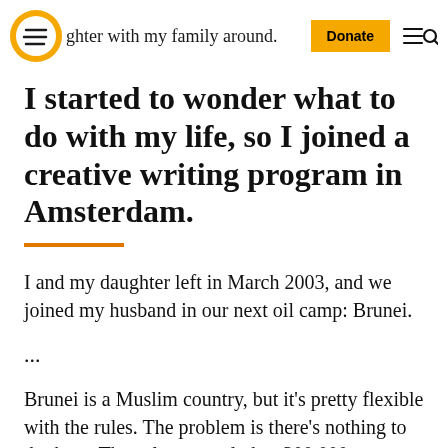ghter with my family around.
I started to wonder what to do with my life, so I joined a creative writing program in Amsterdam.
I and my daughter left in March 2003, and we joined my husband in our next oil camp: Brunei.
...
Brunei is a Muslim country, but it’s pretty flexible with the rules. The problem is there’s nothing to do there. The sultanate only has 300,000